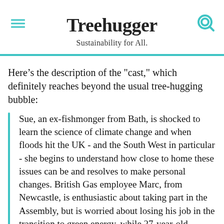Treehugger
Sustainability for All.
Here’s the description of the “cast,” which definitely reaches beyond the usual tree-hugging bubble:
Sue, an ex-fishmonger from Bath, is shocked to learn the science of climate change and when floods hit the UK - and the South West in particular - she begins to understand how close to home these issues can be and resolves to make personal changes. British Gas employee Marc, from Newcastle, is enthusiastic about taking part in the Assembly, but is worried about losing his job in the transition to green energy, while 27-year-old postal-worker Amy is unsettled